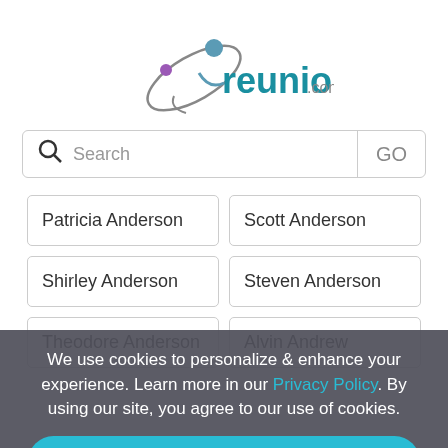[Figure (logo): reunion.com logo with person/orbit icon in teal and purple]
Search GO
Patricia Anderson
Scott Anderson
Shirley Anderson
Steven Anderson
Theodore Anderson
Alvin Andrew
We use cookies to personalize & enhance your experience. Learn more in our Privacy Policy. By using our site, you agree to our use of cookies.
Accept
Pam Aran    Heather Anthony
Jordan Anthony    Christine Armstrong